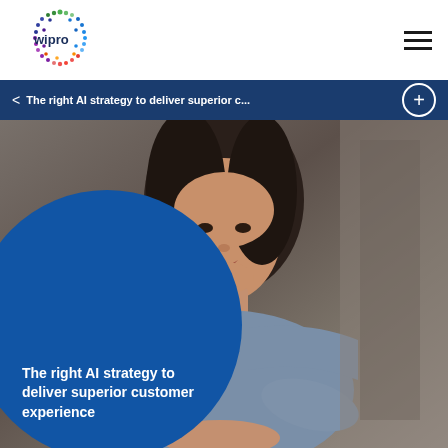[Figure (logo): Wipro logo with colorful dot pattern forming a circle, with 'wipro' text in dark blue]
The right AI strategy to deliver superior customer experience
[Figure (photo): Professional woman with long dark hair wearing a blue-grey top, sitting at a desk in an office environment, looking at camera]
The right AI strategy to deliver superior customer experience